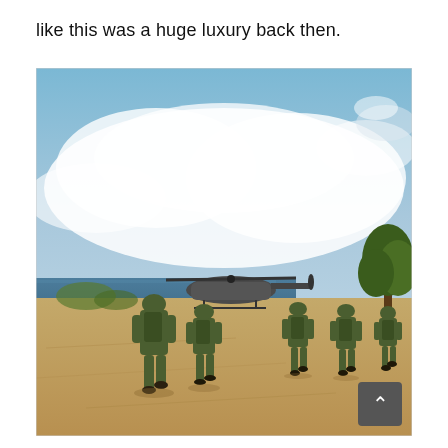like this was a huge luxury back then.
[Figure (photo): Soldiers in camouflage uniforms walking on a dusty dirt road toward a military helicopter parked near the ocean shore. Trees visible on the right side. Blue sky with clouds overhead. A scroll-up button visible in the bottom-right corner of the image.]